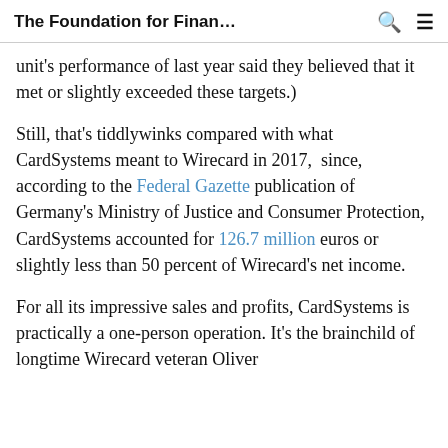The Foundation for Finan…
unit's performance of last year said they believed that it met or slightly exceeded these targets.)
Still, that's tiddlywinks compared with what CardSystems meant to Wirecard in 2017,  since, according to the Federal Gazette publication of Germany's Ministry of Justice and Consumer Protection, CardSystems accounted for 126.7 million euros or slightly less than 50 percent of Wirecard's net income.
For all its impressive sales and profits, CardSystems is practically a one-person operation. It's the brainchild of longtime Wirecard veteran Oliver